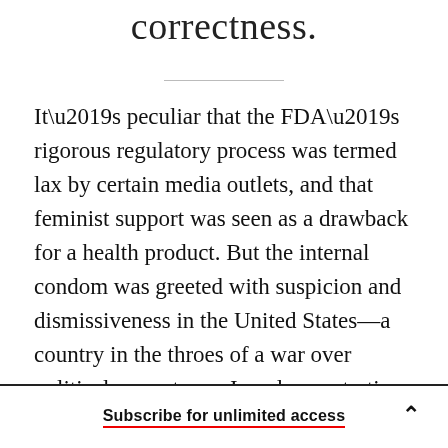correctness.
It’s peculiar that the FDA’s rigorous regulatory process was termed lax by certain media outlets, and that feminist support was seen as a drawback for a health product. But the internal condom was greeted with suspicion and dismissiveness in the United States—a country in the throes of a war over political correctness. In a demonstration of the internal condom played for laughs on his TV show, Rush Limbaugh suggested that the device was
Subscribe for unlimited access